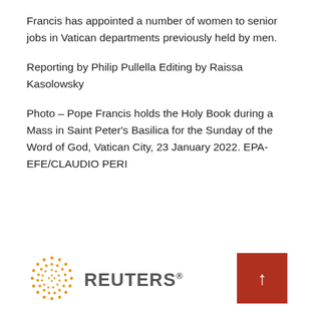Francis has appointed a number of women to senior jobs in Vatican departments previously held by men.
Reporting by Philip Pullella Editing by Raissa Kasolowsky
Photo – Pope Francis holds the Holy Book during a Mass in Saint Peter's Basilica for the Sunday of the Word of God, Vatican City, 23 January 2022. EPA-EFE/CLAUDIO PERI
[Figure (logo): Reuters logo with orange dot-circle emblem and REUTERS wordmark in grey]